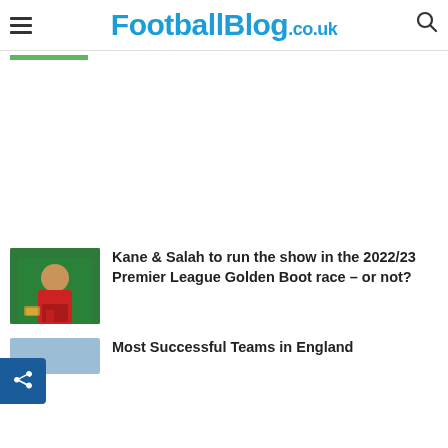FootballBlog.co.uk
[Figure (other): Advertisement / blank white space placeholder]
Kane & Salah to run the show in the 2022/23 Premier League Golden Boot race – or not?
[Figure (photo): Photo of Mohamed Salah in red Liverpool kit holding a golden boot award, green background]
Most Successful Teams in England